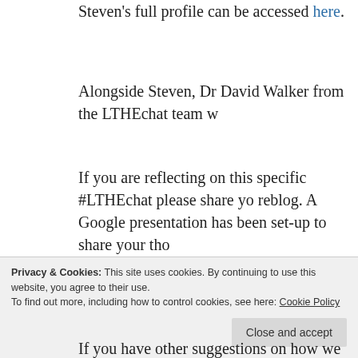Steven's full profile can be accessed here.
Alongside Steven, Dr David Walker from the LTHEchat team w
If you are reflecting on this specific #LTHEchat please share yo reblog. A Google presentation has been set-up to share your tho
[Figure (illustration): A stamp-style graphic on a grey rounded rectangle background, with bold red distressed text reading 'COMING SOON!' in two lines.]
We will al students a led by the called: "Q you" whic bring educ
Privacy & Cookies: This site uses cookies. By continuing to use this website, you agree to their use.
To find out more, including how to control cookies, see here: Cookie Policy
If you have other suggestions on how we could make the #LTH